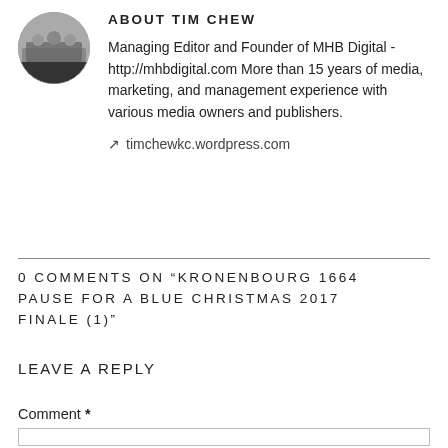[Figure (photo): Circular avatar photo of Tim Chew showing a group of people]
ABOUT TIM CHEW
Managing Editor and Founder of MHB Digital - http://mhbdigital.com More than 15 years of media, marketing, and management experience with various media owners and publishers.
timchewkc.wordpress.com
0 COMMENTS ON “KRONENBOURG 1664 PAUSE FOR A BLUE CHRISTMAS 2017 FINALE (1)”
LEAVE A REPLY
Comment *